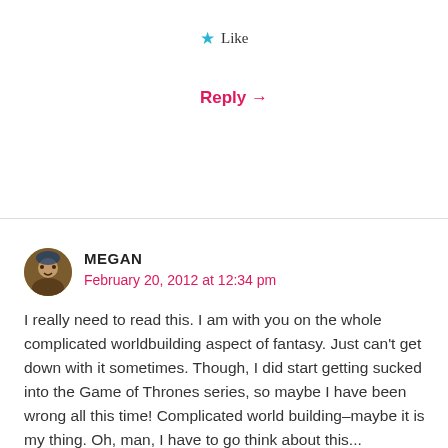★ Like
Reply →
MEGAN
February 20, 2012 at 12:34 pm
I really need to read this. I am with you on the whole complicated worldbuilding aspect of fantasy. Just can't get down with it sometimes. Though, I did start getting sucked into the Game of Thrones series, so maybe I have been wrong all this time! Complicated world building–maybe it is my thing. Oh, man, I have to go think about this...